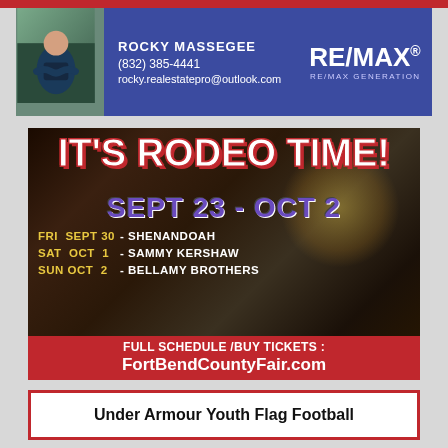[Figure (infographic): RE/MAX Generation real estate agent banner with photo of Rocky Massegee, contact info, and RE/MAX logo on blue background]
[Figure (infographic): Rodeo event poster with dark background. Title: IT'S RODEO TIME! Dates: SEPT 23 - OCT 2. Lineup: FRI SEPT 30 - SHENANDOAH, SAT OCT 1 - SAMMY KERSHAW, SUN OCT 2 - BELLAMY BROTHERS. Bottom red banner: FULL SCHEDULE /BUY TICKETS: FortBendCountyFair.com]
Under Armour Youth Flag Football